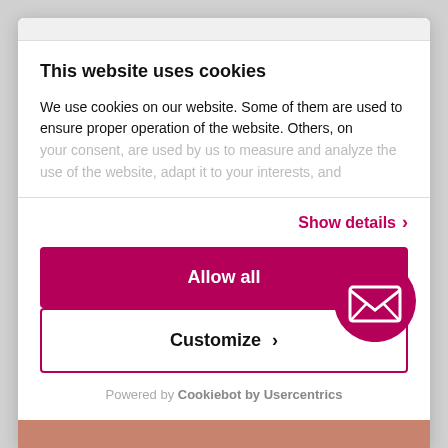This website uses cookies
We use cookies on our website. Some of them are used to ensure proper operation of the website. Others, on your consent, are used by us to measure and analyze the use of the website, adapt it to your interests, and
Show details ›
Allow all
[Figure (illustration): Pink circle with white envelope/mail icon]
Customize ›
Powered by Cookiebot by Usercentrics